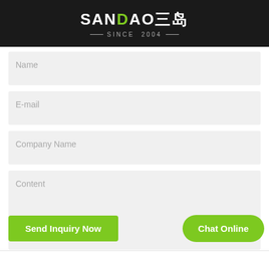SANDAO 三岛 SINCE 2004
Name
E-mail
Company Name
Content
Send Inquiry Now
Chat Online